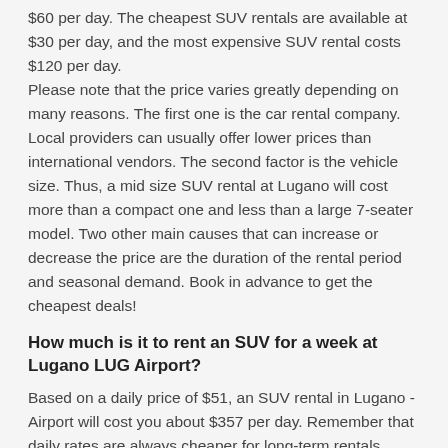$60 per day. The cheapest SUV rentals are available at $30 per day, and the most expensive SUV rental costs $120 per day.
Please note that the price varies greatly depending on many reasons. The first one is the car rental company. Local providers can usually offer lower prices than international vendors. The second factor is the vehicle size. Thus, a mid size SUV rental at Lugano will cost more than a compact one and less than a large 7-seater model. Two other main causes that can increase or decrease the price are the duration of the rental period and seasonal demand. Book in advance to get the cheapest deals!
How much is it to rent an SUV for a week at Lugano LUG Airport?
Based on a daily price of $51, an SUV rental in Lugano - Airport will cost you about $357 per day. Remember that daily rates are always cheaper for long-term rentals.
How much does it cost to rent a large SUV at LUG Airport, Switzerland?